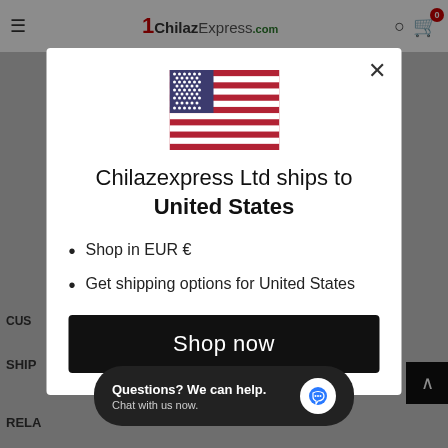[Figure (screenshot): Website background showing ChilazExpress.com e-commerce site navigation bar with logo, hamburger menu, search icon, and cart icon with 0 badge. Gray background visible behind modal overlay.]
[Figure (illustration): US flag emoji/image centered in white modal dialog]
Chilazexpress Ltd ships to United States
Shop in EUR €
Get shipping options for United States
Shop now
Questions? We can help. Chat with us now.